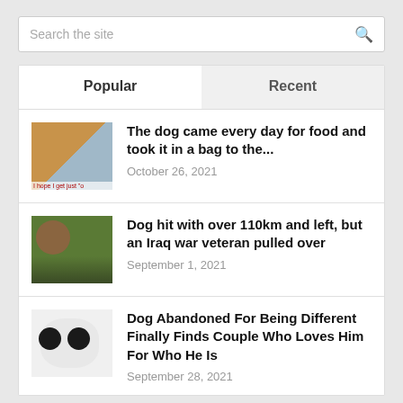Search the site
Popular | Recent
[Figure (photo): Thumbnail of a dog, brown and grey tones, with caption text 'I hope I get just "o']
The dog came every day for food and took it in a bag to the...
October 26, 2021
[Figure (photo): Thumbnail of a dog partially hidden in green grass]
Dog hit with over 110km and left, but an Iraq war veteran pulled over
September 1, 2021
[Figure (photo): Thumbnail of a dog with black spots on white fur resembling panda markings]
Dog Abandoned For Being Different Finally Finds Couple Who Loves Him For Who He Is
September 28, 2021